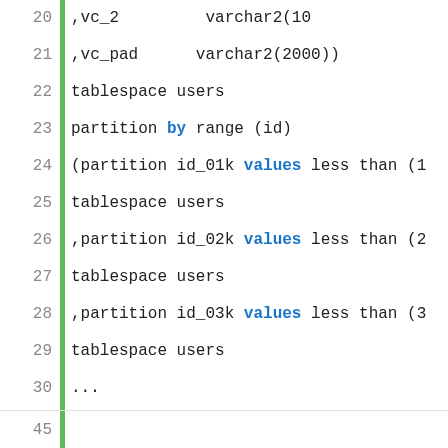[Figure (screenshot): Code editor screenshot showing SQL/Oracle DDL code with line numbers 20-37 visible, green vertical bar on left, keywords 'by', 'values' highlighted in blue. Lines show CREATE TABLE partitioning syntax with partitions id_01k, id_02k, id_03k, id_45k, id_max using range partitioning.]
Privacy & Cookies: This site uses cookies. By continuing to use this website, you agree to their use.
To find out more, including how to control cookies, see here: Cookie Policy
Close and accept